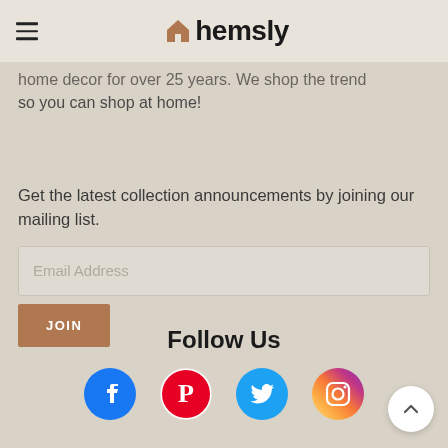hemsly
home decor for over 25 years. We shop the trend so you can shop at home!
Get the latest collection announcements by joining our mailing list.
[Figure (other): Email address input field with placeholder text 'Email Address']
[Figure (other): JOIN button in brown/terracotta color]
Follow Us
[Figure (other): Social media icons: Facebook (blue), Pinterest (red/white), Twitter (blue), Instagram (gradient)]